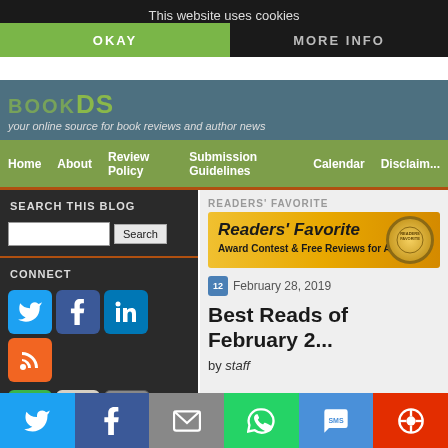This website uses cookies
OKAY | MORE INFO
your online source for book reviews and author news
Home  About  Review Policy  Submission Guidelines  Calendar  Disclaimer
SEARCH THIS BLOG
CONNECT
[Figure (screenshot): Readers' Favorite banner ad - Award Contest & Free Reviews for Authors!]
February 28, 2019
Best Reads of February 2...
by staff